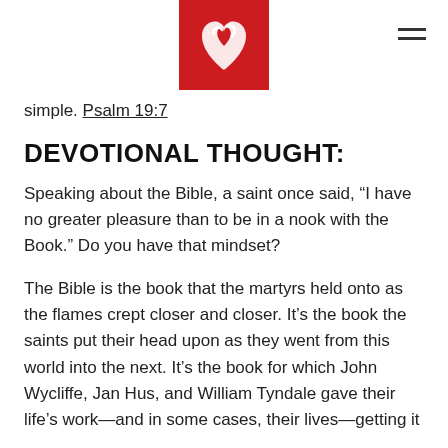[Figure (logo): Red square logo with white stylized heart/flame symbol, and hamburger menu icon to the right]
simple. Psalm 19:7
DEVOTIONAL THOUGHT:
Speaking about the Bible, a saint once said, “I have no greater pleasure than to be in a nook with the Book.” Do you have that mindset?
The Bible is the book that the martyrs held onto as the flames crept closer and closer. It’s the book the saints put their head upon as they went from this world into the next. It’s the book for which John Wycliffe, Jan Hus, and William Tyndale gave their life’s work—and in some cases, their lives—getting it